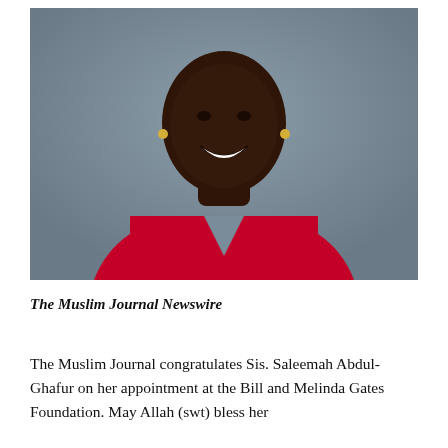[Figure (photo): Portrait photo of a smiling Black woman in a red blazer against a gray background]
The Muslim Journal Newswire
The Muslim Journal congratulates Sis. Saleemah Abdul-Ghafur on her appointment at the Bill and Melinda Gates Foundation. May Allah (swt) bless her